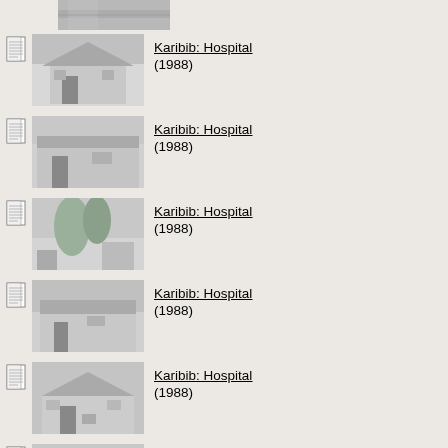[Figure (photo): Partial thumbnail of a building photo at top of list]
Karibib: Hospital (1988)
Karibib: Hospital (1988)
Karibib: Hospital (1988)
Karibib: Hospital (1988)
Karibib: Hospital (1988)
Karibib: Hospital (1988)